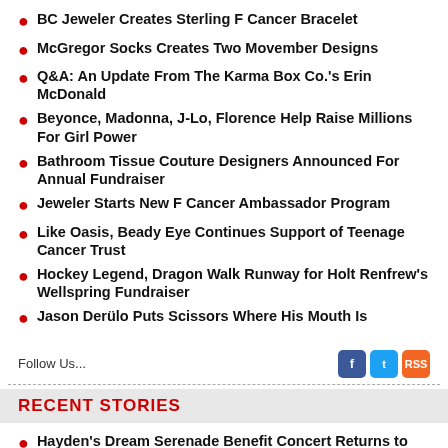BC Jeweler Creates Sterling F Cancer Bracelet
McGregor Socks Creates Two Movember Designs
Q&A: An Update From The Karma Box Co.'s Erin McDonald
Beyonce, Madonna, J-Lo, Florence Help Raise Millions For Girl Power
Bathroom Tissue Couture Designers Announced For Annual Fundraiser
Jeweler Starts New F Cancer Ambassador Program
Like Oasis, Beady Eye Continues Support of Teenage Cancer Trust
Hockey Legend, Dragon Walk Runway for Holt Renfrew's Wellspring Fundraiser
Jason Derülo Puts Scissors Where His Mouth Is
Follow Us...
RECENT STORIES
Hayden's Dream Serenade Benefit Concert Returns to Massey Hall
Fundraising Goal Met To Restore Brantford Residential School